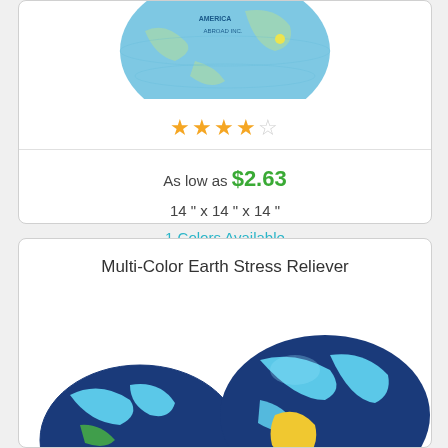[Figure (photo): Bottom half of a blue globe stress reliever ball with world map markings, partially visible at top of page]
★★★★☆
As low as $2.63
14 " x 14 " x 14 "
1 Colors Available
Item #BB115
Multi-Color Earth Stress Reliever
[Figure (photo): Two multi-color earth stress reliever balls showing continents in dark blue, light blue, green, and yellow on a white background]